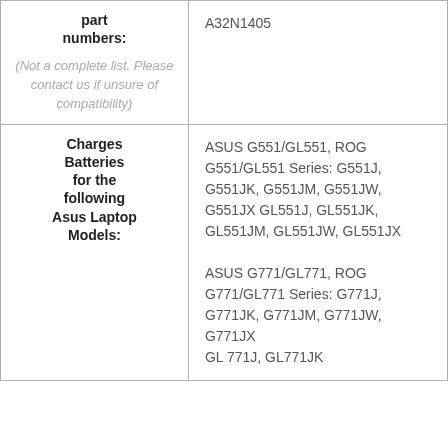| part numbers: |  |
| --- | --- |
| part numbers:
(Not a complete list. Please contact us if unsure of compatibility) | A32N1405 |
| Charges Batteries for the following Asus Laptop Models: | ASUS G551/GL551, ROG G551/GL551 Series: G551J, G551JK, G551JM, G551JW, G551JX GL551J, GL551JK, GL551JM, GL551JW, GL551JX ASUS G771/GL771, ROG G771/GL771 Series: G771J, G771JK, G771JM, G771JW, G771JX GL771J, GL771JK |